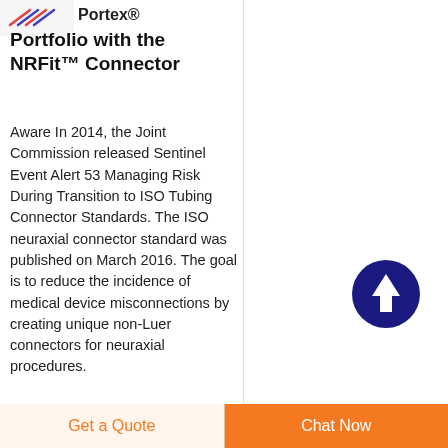[Figure (logo): Small logo image in top-left corner with red and blue graphic elements]
Portex® Portfolio with the NRFit™ Connector
Aware In 2014, the Joint Commission released Sentinel Event Alert 53 Managing Risk During Transition to ISO Tubing Connector Standards. The ISO neuraxial connector standard was published on March 2016. The goal is to reduce the incidence of medical device misconnections by creating unique non-Luer connectors for neuraxial procedures.
[Figure (illustration): Dark navy blue circle with a white upward arrow icon, used as a scroll-to-top button]
Get a Quote
Chat Now